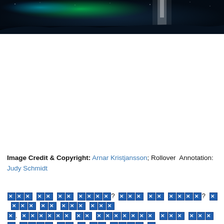[Figure (photo): Aurora borealis photograph showing green and blue northern lights over a dark landscape, with a bright vertical light feature (possibly a waterfall or figure) visible against the night sky.]
Image Credit & Copyright: Arnar Kristjansson; Rollover Annotation: Judy Schmidt
[Redacted text blocks representing body text of an astronomy article]